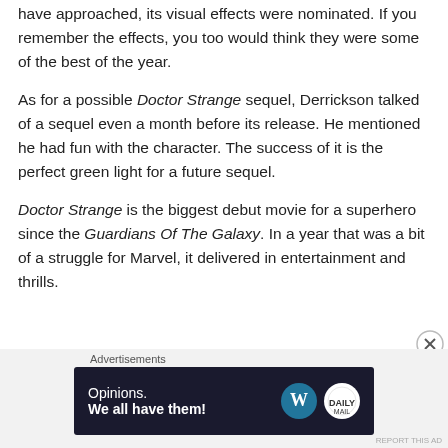have approached, its visual effects were nominated. If you remember the effects, you too would think they were some of the best of the year.
As for a possible Doctor Strange sequel, Derrickson talked of a sequel even a month before its release. He mentioned he had fun with the character. The success of it is the perfect green light for a future sequel.
Doctor Strange is the biggest debut movie for a superhero since the Guardians Of The Galaxy. In a year that was a bit of a struggle for Marvel, it delivered in entertainment and thrills.
[Figure (other): Advertisement banner with dark navy background showing 'Opinions. We all have them!' text with WordPress and Daily Mail logos.]